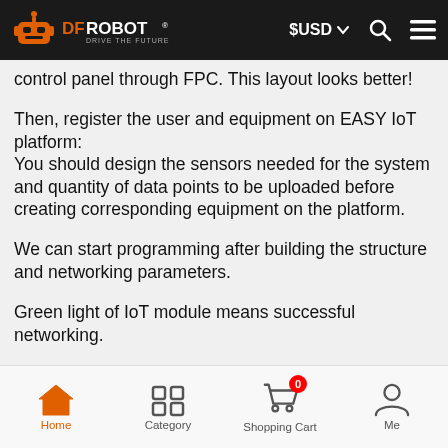DFRobot DRIVE THE FUTURE | $USD | Search | Menu
control panel through FPC. This layout looks better!
Then, register the user and equipment on EASY IoT platform:
You should design the sensors needed for the system and quantity of data points to be uploaded before creating corresponding equipment on the platform.
We can start programming after building the structure and networking parameters.
Green light of IoT module means successful networking.
Home | Category | Shopping Cart (0) | Me